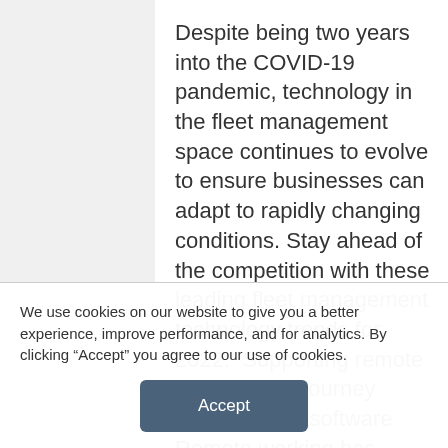Despite being two years into the COVID-19 pandemic, technology in the fleet management space continues to evolve to ensure businesses can adapt to rapidly changing conditions. Stay ahead of the competition with these leading fleet management technology trends for 2022:  Supporting remote workers with journey management software Remote working has increasingly become the new normal for many businesses, with many looking to technology solutions to help stay connected to their
We use cookies on our website to give you a better experience, improve performance, and for analytics. By clicking “Accept” you agree to our use of cookies.